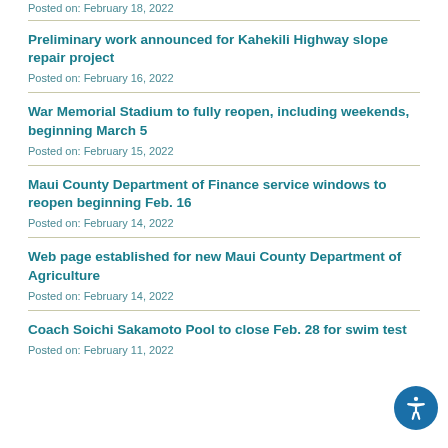Posted on: February 18, 2022
Preliminary work announced for Kahekili Highway slope repair project
Posted on: February 16, 2022
War Memorial Stadium to fully reopen, including weekends, beginning March 5
Posted on: February 15, 2022
Maui County Department of Finance service windows to reopen beginning Feb. 16
Posted on: February 14, 2022
Web page established for new Maui County Department of Agriculture
Posted on: February 14, 2022
Coach Soichi Sakamoto Pool to close Feb. 28 for swim test
Posted on: February 11, 2022